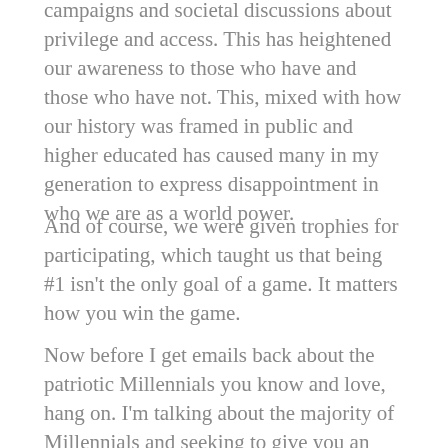campaigns and societal discussions about privilege and access. This has heightened our awareness to those who have and those who have not. This, mixed with how our history was framed in public and higher educated has caused many in my generation to express disappointment in who we are as a world power.
And of course, we were given trophies for participating, which taught us that being #1 isn't the only goal of a game. It matters how you win the game.
Now before I get emails back about the patriotic Millennials you know and love, hang on. I'm talking about the majority of Millennials and seeking to give you an explanation on why that is